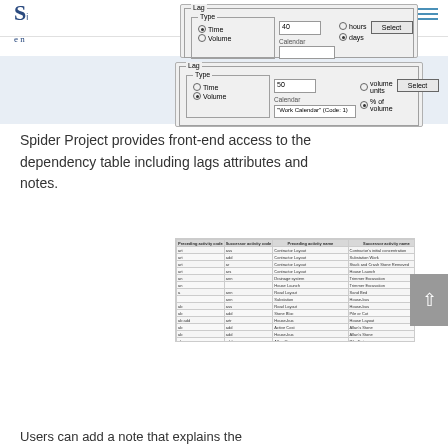[Figure (screenshot): Lag dialog box showing Type options (Time selected, Volume), value field with 40, radio buttons for hours and days (days selected), Select button, and Calendar field]
[Figure (screenshot): Lag dialog box showing Type options (Time, Volume selected), value field with 50, radio buttons for volume units and % of volume (% of volume selected), Select button, and Calendar field showing 'Work Calendar' (Code: 1)]
Spider Project provides front-end access to the dependency table including lags attributes and notes.
[Figure (screenshot): Dependency table with columns: Preceding activity code, Successor activity code, Preceding activity name, Successor activity name, Type, Start, Going, Lag, Lag unit, Lag (attribute), Notes. Multiple rows of project dependency data.]
Users can add a note that explains the